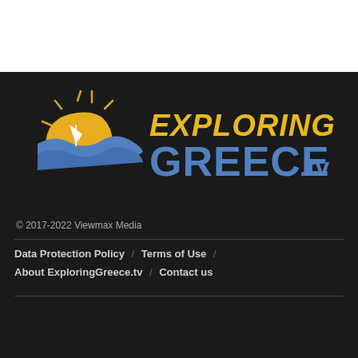[Figure (logo): Exploring Greece.tv logo - golden sun with white sailboat and blue wave, with text 'EXPLORING GREECE.tv' in yellow and blue bold lettering on dark background]
© 2017-2022 Viewmax Media
Data Protection Policy / Terms of Use / About ExploringGreece.tv / Contact us